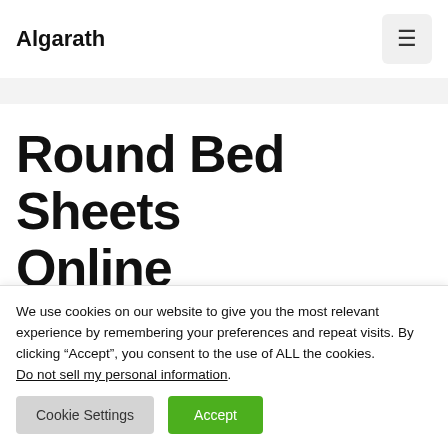Algarath
Round Bed Sheets Online
We use cookies on our website to give you the most relevant experience by remembering your preferences and repeat visits. By clicking “Accept”, you consent to the use of ALL the cookies. Do not sell my personal information.